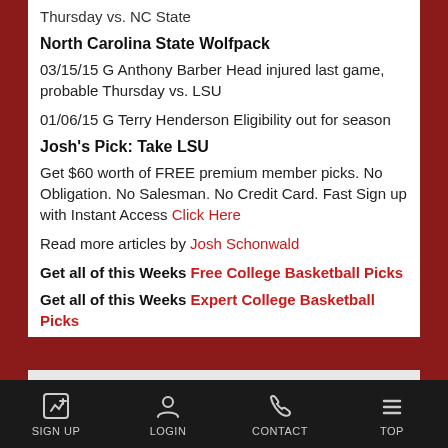Thursday vs. NC State
North Carolina State Wolfpack
03/15/15 G Anthony Barber Head injured last game, probable Thursday vs. LSU
01/06/15 G Terry Henderson Eligibility out for season
Josh's Pick: Take LSU
Get $60 worth of FREE premium member picks. No Obligation. No Salesman. No Credit Card. Fast Sign up with Instant Access Click Here
Read more articles by Josh Schonwald
Get all of this Weeks Free College Basketball Picks
Get all of this Weeks Expert College Basketball Picks
[Figure (infographic): DAILY FREE PICKS dark banner]
SIGN UP  LOGIN  CONTACT  TOP